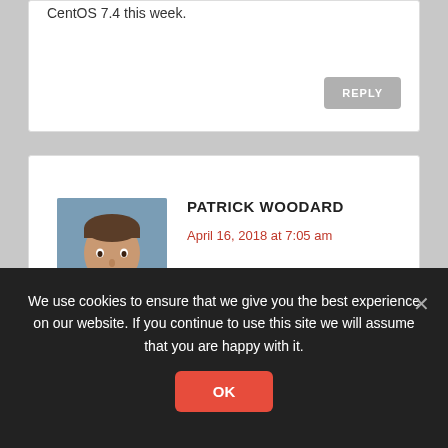CentOS 7.4 this week.
REPLY
PATRICK WOODARD
April 16, 2018 at 7:05 am
[Figure (photo): Avatar photo of Patrick Woodard, a man in a light blue shirt]
I get same error.
Error: Package: gvfs-1.30.4-5.el7.x86_64 (@anaconda/7.5)
Requires: libbluray.so.1()(64bit)
Removing: libbluray-0.2.3-5.el7.x86_64
(@anaconda/7.5)
We use cookies to ensure that we give you the best experience on our website. If you continue to use this site we will assume that you are happy with it.
OK